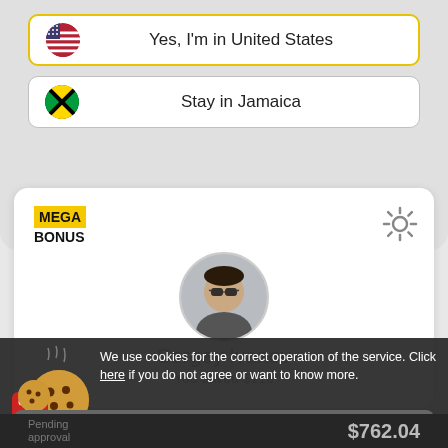[Figure (screenshot): Button: Yes, I'm in United States with US flag icon]
[Figure (screenshot): Button: Stay in Jamaica with Jamaica flag icon]
[Figure (logo): MEGA BONUS logo in yellow]
[Figure (illustration): Gear/settings icon]
[Figure (photo): Circular profile photo of Sergey Ivanov - man with sunglasses]
Sergey Ivanov
You saved $110
[Figure (illustration): Cookie and dice illustration for cookie consent notice]
We use cookies for the correct operation of the service. Click here if you do not agree or want to know more.
[Figure (screenshot): Okay button in gray]
Pending approval
$762.04